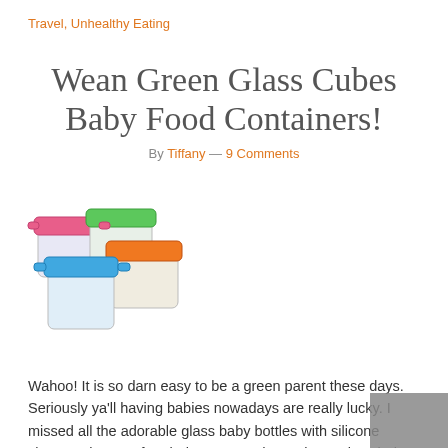Travel, Unhealthy Eating
Wean Green Glass Cubes Baby Food Containers!
By Tiffany — 9 Comments
[Figure (photo): Four colorful glass baby food storage containers with silicone lids in pink, green, orange, and blue colors arranged together]
Wahoo! It is so darn easy to be a green parent these days. Seriously ya'll having babies nowadays are really lucky. I missed all the adorable glass baby bottles with silicone sleeves, the BPA free baby gear, and now these glass baby food storage containers from Wean Green. They are stylish, safe, and green.